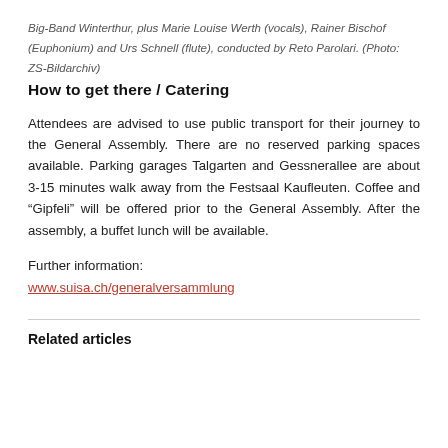Big-Band Winterthur, plus Marie Louise Werth (vocals), Rainer Bischof (Euphonium) and Urs Schnell (flute), conducted by Reto Parolari. (Photo: ZS-Bildarchiv)
How to get there / Catering
Attendees are advised to use public transport for their journey to the General Assembly. There are no reserved parking spaces available. Parking garages Talgarten and Gessnerallee are about 3-15 minutes walk away from the Festsaal Kaufleuten. Coffee and “Gipfeli” will be offered prior to the General Assembly. After the assembly, a buffet lunch will be available.
Further information:
www.suisa.ch/generalversammlung
Related articles